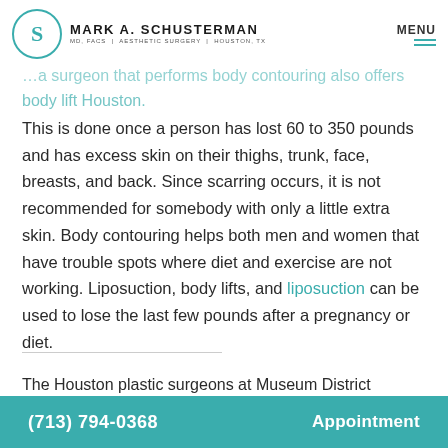Mark A. Schusterman MD, FACS | Aesthetic Surgery | Houston, TX — MENU
…a surgeon that performs body contouring also offers body lift Houston.
This is done once a person has lost 60 to 350 pounds and has excess skin on their thighs, trunk, face, breasts, and back. Since scarring occurs, it is not recommended for somebody with only a little extra skin. Body contouring helps both men and women that have trouble spots where diet and exercise are not working. Liposuction, body lifts, and liposuction can be used to lose the last few pounds after a pregnancy or diet.
The Houston plastic surgeons at Museum District
(713) 794-0368   Appointment